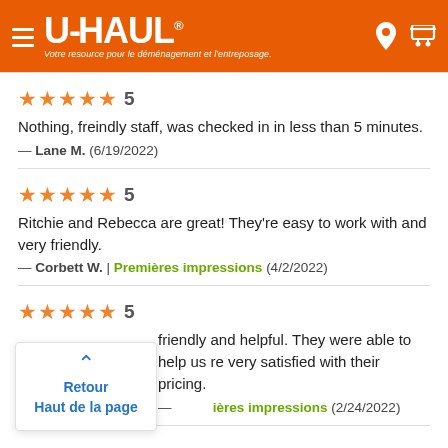U-HAUL® — Votre resource pour le déménagement et l'entreposage.
★★★★★ 5
Nothing, freindly staff, was checked in in less than 5 minutes.
— Lane M.  (6/19/2022)
★★★★★ 5
Ritchie and Rebecca are great! They're easy to work with and very friendly.
— Corbett W.  |  Premières impressions  (4/2/2022)
★★★★★ 5
...friendly and helpful. They were able to help us ...re very satisfied with their pricing.
— ...  |  Premières impressions  (2/24/2022)
Retour
Haut de la page